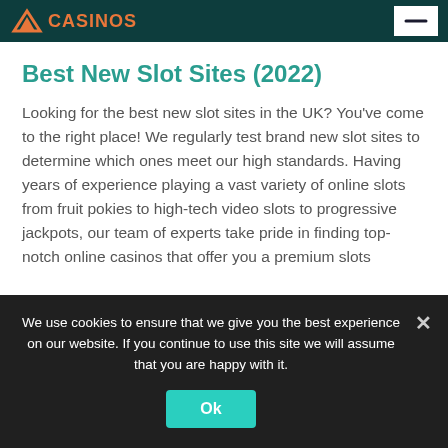CASINOS
Best New Slot Sites (2022)
Looking for the best new slot sites in the UK? You've come to the right place! We regularly test brand new slot sites to determine which ones meet our high standards. Having years of experience playing a vast variety of online slots from fruit pokies to high-tech video slots to progressive jackpots, our team of experts take pride in finding top-notch online casinos that offer you a premium slots
We use cookies to ensure that we give you the best experience on our website. If you continue to use this site we will assume that you are happy with it.